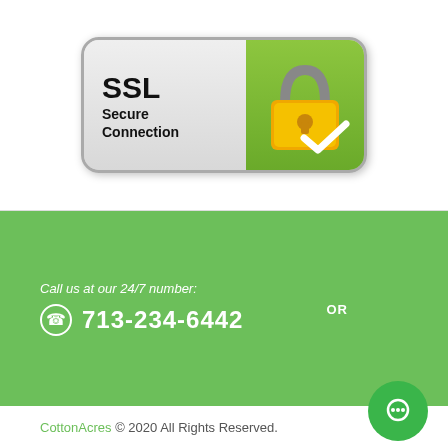[Figure (logo): SSL Secure Connection badge with padlock icon on green background]
Call us at our 24/7 number:
713-234-6442
OR
CottonAcres © 2020 All Rights Reserved.